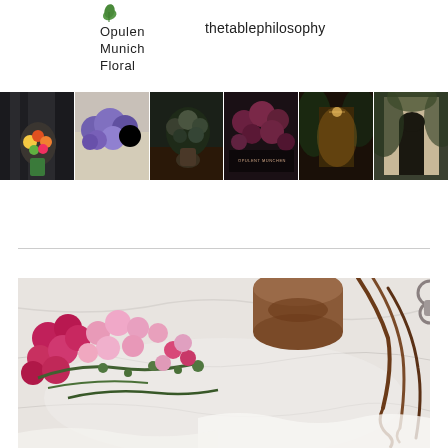[Figure (logo): Opulent Munich Floral logo with green leaf icon]
thetablephilosophy
[Figure (photo): Strip of 6 floral and event photography images]
[Figure (photo): Large overhead photo of pink and magenta flowers with ribbon spool on white marble surface]